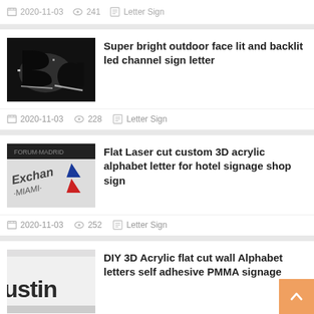2020-11-03  241  Letter Sign
[Figure (photo): Black 3D channel letter B and a with bright white backlit glow against dark background]
Super bright outdoor face lit and backlit led channel sign letter
2020-11-03  228  Letter Sign
[Figure (photo): Flat laser cut acrylic letters spelling Exchange Miami with tri-color logo on white surface]
Flat Laser cut custom 3D acrylic alphabet letter for hotel signage shop sign
2020-11-03  252  Letter Sign
[Figure (photo): Dark 3D acrylic letters on white surface spelling custom text]
DIY 3D Acrylic flat cut wall Alphabet letters self adhesive PMMA signage